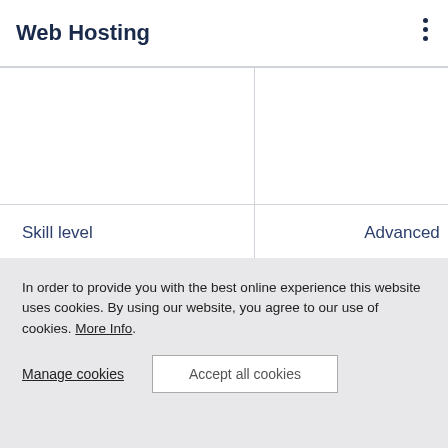Web Hosting
|  | Column 2 | Column 3 (partial) |
| --- | --- | --- |
|  |  |  |
| Skill level | Advanced |  |
| Suitable for | Small and medium-sized standard web projects | Sm- siz- |
In order to provide you with the best online experience this website uses cookies. By using our website, you agree to our use of cookies. More Info.
Manage cookies
Accept all cookies